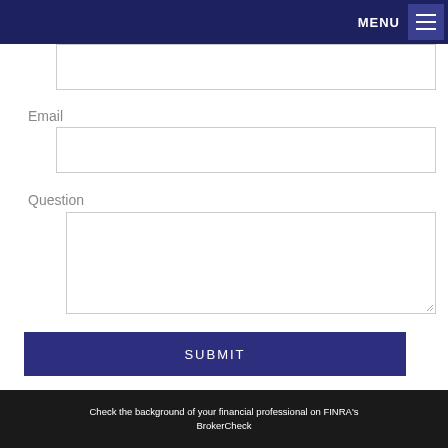MENU
Email
Question
SUBMIT
Check the background of your financial professional on FINRA's BrokerCheck